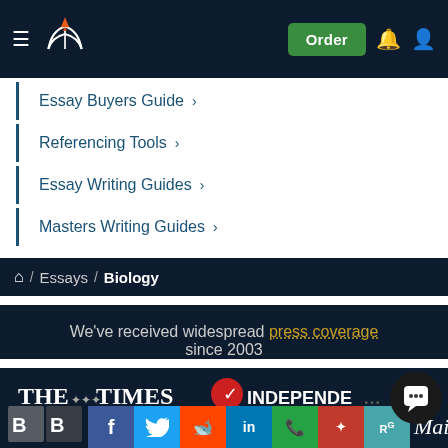[Figure (logo): Website navigation bar with hamburger menu, book/pen logo, Order button, bell and user icons on dark navy background]
Essay Buyers Guide >
Referencing Tools >
Essay Writing Guides >
Masters Writing Guides >
Home / Essays / Biology
We've received widespread press coverage since 2003
[Figure (logo): THE TIMES newspaper logo in white text on dark background]
[Figure (logo): INDEPENDENT newspaper logo with red bird icon on dark background]
[Figure (logo): BBC logo partially visible on dark background]
[Figure (logo): Daily Mail logo on dark background]
[Figure (infographic): Social media share buttons: Facebook, Twitter, Reddit, LinkedIn, WhatsApp, Mendeley, ResearchGate]